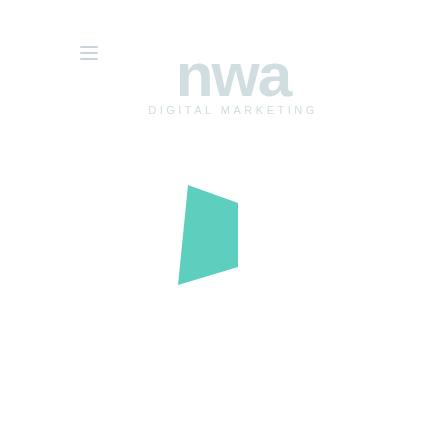[Figure (logo): NWA Digital Marketing logo — large light gray stylized text 'nwa' above smaller text 'DIGITAL MARKETING', centered on the upper portion of the page]
[Figure (illustration): A teal/mint colored quadrilateral shape resembling a play button or arrow pointing right, centered in the middle of the page]